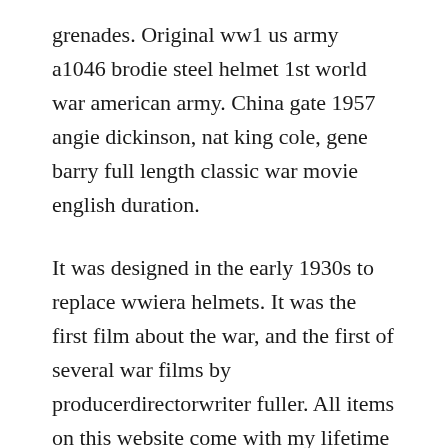grenades. Original ww1 us army a1046 brodie steel helmet 1st world war american army. China gate 1957 angie dickinson, nat king cole, gene barry full length classic war movie english duration.
It was designed in the early 1930s to replace wwiera helmets. It was the first film about the war, and the first of several war films by producerdirectorwriter fuller. All items on this website come with my lifetime guarantee of authenticity. Walker from greenville ky a staff driver for general patton.